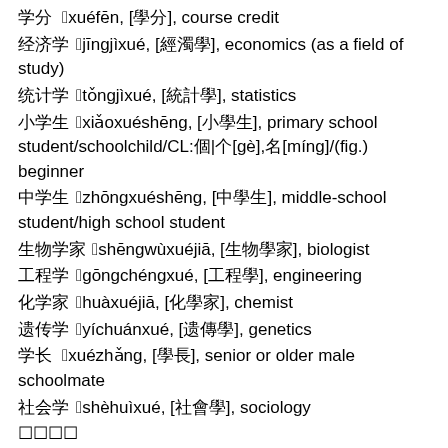学分　xuéfēn, [學分], course credit
经济学　jīngjìxué, [經濟學], economics (as a field of study)
统计学　tǒngjìxué, [統計學], statistics
小学生　xiǎoxuéshēng, [小學生], primary school student/schoolchild/CL:個|个[gè],名[míng]/(fig.) beginner
中学生　zhōngxuéshēng, [中學生], middle-school student/high school student
生物学家　shēngwùxuéjiā, [生物學家], biologist
工程学　gōngchéngxué, [工程學], engineering
化学家　huàxuéjiā, [化學家], chemist
遗传学　yíchuánxué, [遺傳學], genetics
学长　xuézhǎng, [學長], senior or older male schoolmate
社会学　shèhuìxué, [社會學], sociology